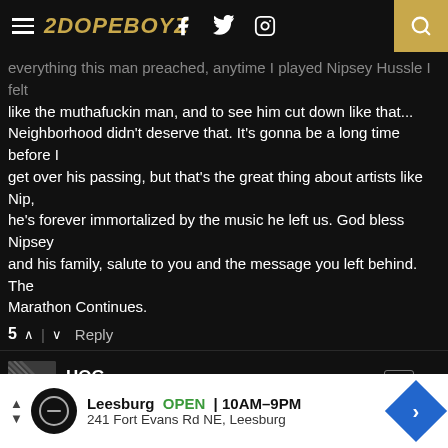2DOPEBOYZ
everything this man preached, anytime I played Nipsey Hussle I felt like the muthafuckin man, and to see him cut down like that... Neighborhood didn't deserve that. It's gonna be a long time before I get over his passing, but that's the great thing about artists like Nip, he's forever immortalized by the music he left us. God bless Nipsey and his family, salute to you and the message you left behind. The Marathon Continues.
5  ^  |  v  Reply
HOG
3 years ago
Thank you for this playlist 2DBZ. Man I been on this blog since you started to put his music up here. You knew years back he was something else. Always raw, organic and himself at all times. Victory Lap is an amazing body of work that will forever leave a mark on the culture we love and hate for everything it is.
Thanks for everything Nip.
LAST TIM
Leesburg  OPEN  10AM–9PM
241 Fort Evans Rd NE, Leesburg